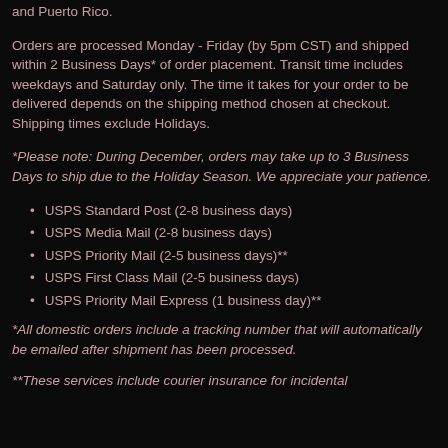and Puerto Rico.
Orders are processed Monday - Friday (by 5pm CST) and shipped within 2 Business Days* of order placement. Transit time includes weekdays and Saturday only. The time it takes for your order to be delivered depends on the shipping method chosen at checkout. Shipping times exclude Holidays.
*Please note: During December, orders may take up to 3 Business Days to ship due to the Holiday Season. We appreciate your patience.
USPS Standard Post (2-8 business days)
USPS Media Mail (2-8 business days)
USPS Priority Mail (2-5 business days)**
USPS First Class Mail (2-5 business days)
USPS Priority Mail Express (1 business day)**
*All domestic orders include a tracking number that will automatically be emailed after shipment has been processed.
**These services include courier insurance for incidental